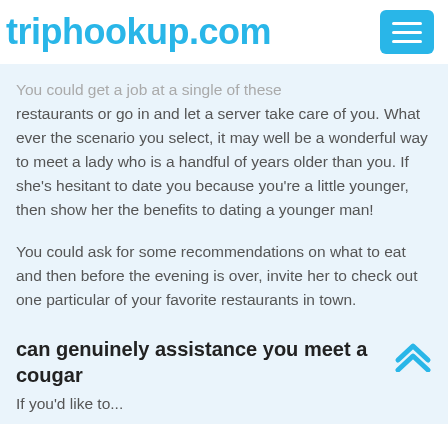triphookup.com
You could get a job at a single of these restaurants or go in and let a server take care of you. What ever the scenario you select, it may well be a wonderful way to meet a lady who is a handful of years older than you. If she’s hesitant to date you because you’re a little younger, then show her the benefits to dating a younger man!
You could ask for some recommendations on what to eat and then before the evening is over, invite her to check out one particular of your favorite restaurants in town.
can genuinely assistance you meet a cougar
If you’d like to...